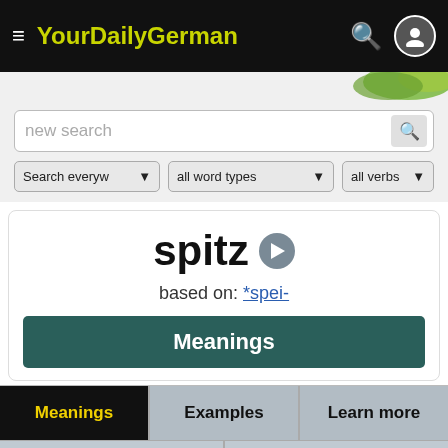YourDailyGerman
new search
Search everyw ▾   all word types ▾   all verbs ▾
spitz
based on: *spei-
Meanings
Meanings   Examples   Learn more
Word Family   Comments
Subscribe for free